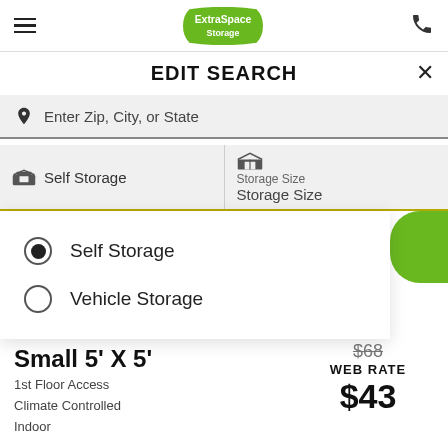Extra Space Storage — navigation header with hamburger menu, logo, and phone icon
EDIT SEARCH
Enter Zip, City, or State
Self Storage | Storage Size / Storage Size
Self Storage (selected radio)
Vehicle Storage (unselected radio)
Small 5' X 5'
1st Floor Access
Climate Controlled
Indoor
$68 (strikethrough)
WEB RATE
$43
SIZE HELP
[Figure (logo): TrustedSite CERTIFIED SECURE badge]
SELECT